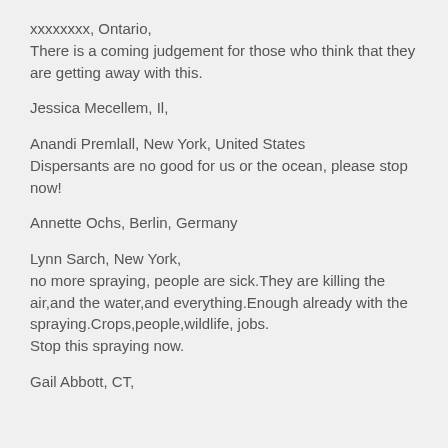xxxxxxxx, Ontario,
There is a coming judgement for those who think that they are getting away with this.
Jessica Mecellem, Il,
Anandi Premlall, New York, United States
Dispersants are no good for us or the ocean, please stop now!
Annette Ochs, Berlin, Germany
Lynn Sarch, New York,
no more spraying, people are sick.They are killing the air,and the water,and everything.Enough already with the spraying.Crops,people,wildlife, jobs.
Stop this spraying now.
Gail Abbott, CT,